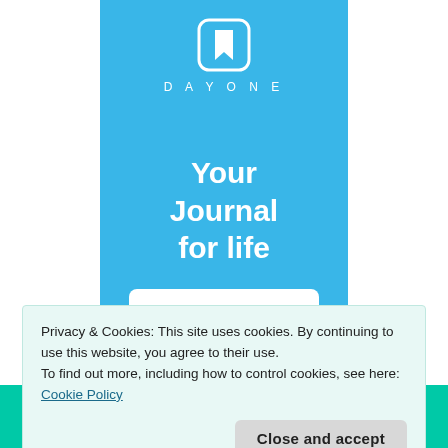[Figure (logo): Day One app logo — white bookmark icon in a rounded square, with 'DAY ONE' text in white spaced letters below, on a blue background banner]
Your Journal for life
Get the app
Privacy & Cookies: This site uses cookies. By continuing to use this website, you agree to their use.
To find out more, including how to control cookies, see here:
Cookie Policy
Close and accept